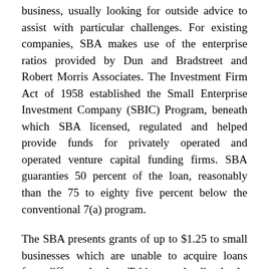business, usually looking for outside advice to assist with particular challenges. For existing companies, SBA makes use of the enterprise ratios provided by Dun and Bradstreet and Robert Morris Associates. The Investment Firm Act of 1958 established the Small Enterprise Investment Company (SBIC) Program, beneath which SBA licensed, regulated and helped provide funds for privately operated and operated venture capital funding firms. SBA guaranties 50 percent of the loan, reasonably than the 75 to eighty five percent below the conventional 7(a) program.
The SBA presents grants of up to $1.25 to small businesses which are unable to acquire loans from different lenders. Taking part lending banks will need to have reached a 750 settlement with the SBA and completed a lender's registration (different from the Low-Doc registration) with the SBA. The higher your personal funding within the